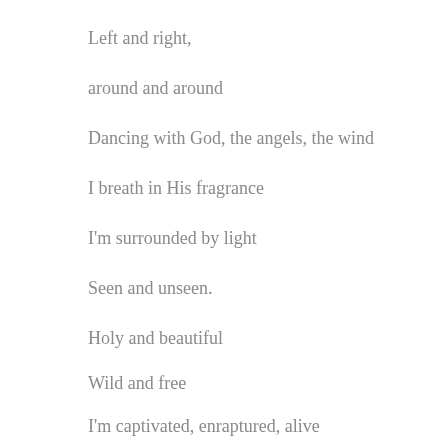Left and right,
around and around
Dancing with God, the angels, the wind
I breath in His fragrance
I'm surrounded by light
Seen and unseen.
Holy and beautiful
Wild and free
I'm captivated, enraptured, alive